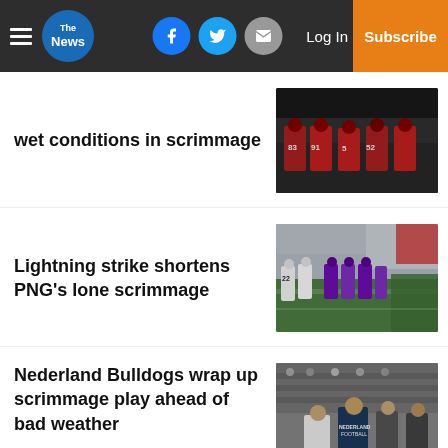The News — Log In | Subscribe
wet conditions in scrimmage
[Figure (photo): Football players in red jerseys huddled together on the field, numbers 83, 91, 5, 52 visible]
Lightning strike shortens PNG's lone scrimmage
[Figure (photo): Football players in white and purple jerseys during scrimmage on green field]
Nederland Bulldogs wrap up scrimmage play ahead of bad weather
[Figure (photo): Coaches and players on sideline, person wearing Nederland Football shirt]